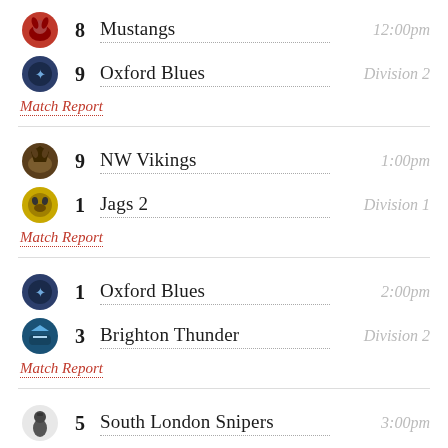8 Mustangs — 12:00pm
9 Oxford Blues — Division 2
Match Report
9 NW Vikings — 1:00pm
1 Jags 2 — Division 1
Match Report
1 Oxford Blues — 2:00pm
3 Brighton Thunder — Division 2
Match Report
5 South London Snipers — 3:00pm
4 Southampton Spitfires — Division 1
Match Report
4 London Lions — 4:00pm